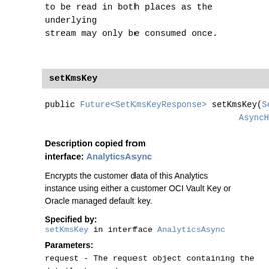to be read in both places as the underlying stream may only be consumed once.
setKmsKey
public Future<SetKmsKeyResponse> setKmsKey(SetKmsKeyRequest request, AsyncHandler<SetKmsKeyRequest, SetKmsKeyResponse> handler)
Description copied from interface: AnalyticsAsync
Encrypts the customer data of this Analytics instance using either a customer OCI Vault Key or Oracle managed default key.
Specified by:
setKmsKey in interface AnalyticsAsync
Parameters:
request - The request object containing the details to send
handler - The request handler to invoke